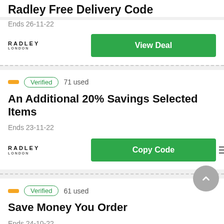Radley Free Delivery Code
Ends 26-11-22
View Deal
Verified  71 used
An Additional 20% Savings Selected Items
Ends 23-11-22
Copy Code
Verified  61 used
Save Money You Order
Ends 24-10-22